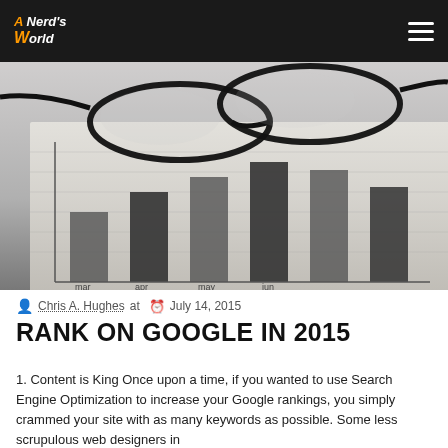A Nerd's World — navigation bar with logo and menu icon
[Figure (photo): Black and white close-up photo of eyeglasses resting on printed charts/graphs with bar chart visible and months (mar, apr, may) on axis]
Chris A. Hughes at  July 14, 2015
RANK ON GOOGLE IN 2015
1. Content is King Once upon a time, if you wanted to use Search Engine Optimization to increase your Google rankings, you simply crammed your site with as many keywords as possible. Some less scrupulous web designers in